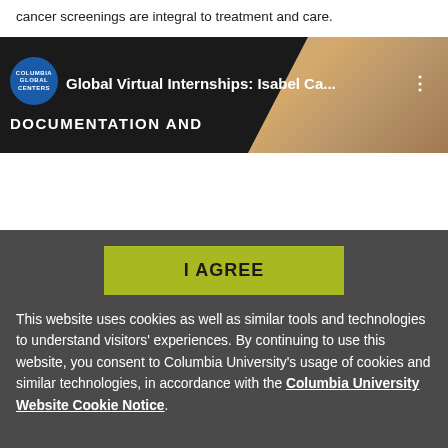cancer screenings are integral to treatment and care.
[Figure (screenshot): Video thumbnail for 'Global Virtual Internships: Isabel Ca...' from Columbia Global Centers, showing a woman's face on the right side and 'DOCUMENTATION AND' text overlay on left, with Columbia Global Centers logo.]
I AGREE
This website uses cookies as well as similar tools and technologies to understand visitors' experiences. By continuing to use this website, you consent to Columbia University's usage of cookies and similar technologies, in accordance with the Columbia University Website Cookie Notice.